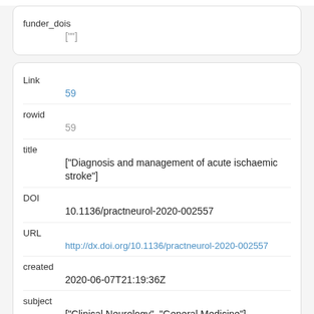funder_dois
  [""]
Link
  59
rowid
  59
title
  ["Diagnosis and management of acute ischaemic stroke"]
DOI
  10.1136/practneurol-2020-002557
URL
  http://dx.doi.org/10.1136/practneurol-2020-002557
created
  2020-06-07T21:19:36Z
subject
  ["Clinical Neurology", "General Medicine"]
references-count
  130